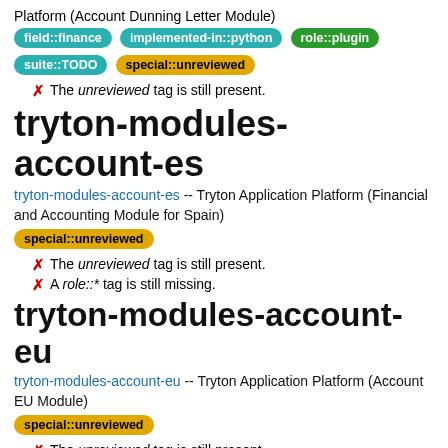Platform (Account Dunning Letter Module)
field::finance
implemented-in::python
role::plugin
suite::TODO
special::unreviewed
✗ The unreviewed tag is still present.
tryton-modules-account-es
tryton-modules-account-es -- Tryton Application Platform (Financial and Accounting Module for Spain)
special::unreviewed
✗ The unreviewed tag is still present.
✗ A role::* tag is still missing.
tryton-modules-account-eu
tryton-modules-account-eu -- Tryton Application Platform (Account EU Module)
special::unreviewed
✗ The unreviewed tag is still present.
✗ A role::* tag is still missing.
tryton-modules-account-fr